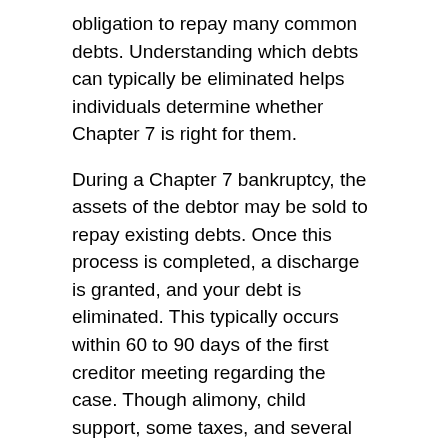obligation to repay many common debts. Understanding which debts can typically be eliminated helps individuals determine whether Chapter 7 is right for them.
During a Chapter 7 bankruptcy, the assets of the debtor may be sold to repay existing debts. Once this process is completed, a discharge is granted, and your debt is eliminated. This typically occurs within 60 to 90 days of the first creditor meeting regarding the case. Though alimony, child support, some taxes, and several other types of debt cannot be discharged through bankruptcy, Chapter 7 is still a good way to get rid other types of debt.
Types of debt eliminated through Chapter 7 bankruptcy
Under the Bankruptcy Code, there are several forms of...